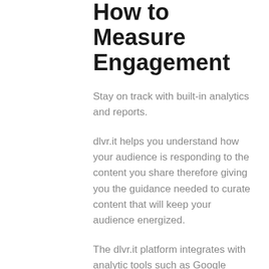How to Measure Engagement
Stay on track with built-in analytics and reports.
dlvr.it helps you understand how your audience is responding to the content you share therefore giving you the guidance needed to curate content that will keep your audience energized.
The dlvr.it platform integrates with analytic tools such as Google Analytics so can automatically append each curated link with unique tracking codes to let the shortened links show up on